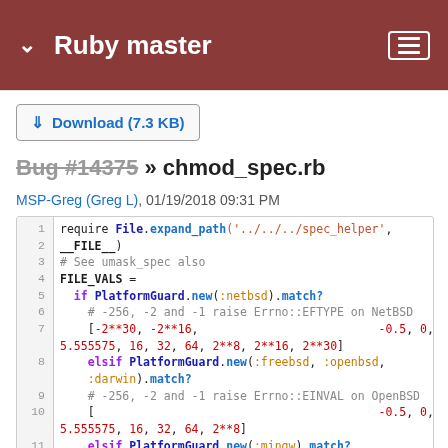Ruby master
Download (7.3 KB)
Bug #14375 » chmod_spec.rb
MSP-Greg (Greg L), 01/19/2018 09:31 PM
require File.expand_path('../../../spec_helper', __FILE__)

# See umask_spec also
FILE_VALS =
  if PlatformGuard.new(:netbsd).match?
    # -256, -2 and -1 raise Errno::EFTYPE on NetBSD
    [-2**30, -2**16,                          -0.5, 0, 1, 2,
5.555575, 16, 32, 64, 2**8, 2**16, 2**30]
    elsif PlatformGuard.new(:freebsd, :openbsd,
    :darwin).match?
    # -256, -2 and -1 raise Errno::EINVAL on OpenBSD
    [                                         -0.5, 0, 1, 2,
5.555575, 16, 32, 64, 2**8]
    elsif PlatformGuard.new(:mingw).match?
    [                          -2**8, -2, -1,-0.5, 0, 1, 2,
5.555575, 16, 32, 64, 2**8]